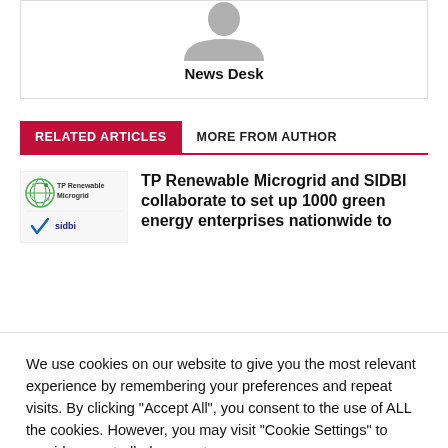[Figure (illustration): Author avatar placeholder with grey silhouette icon]
News Desk
RELATED ARTICLES   MORE FROM AUTHOR
[Figure (logo): TP Renewable Microgrid and SIDBI logos]
TP Renewable Microgrid and SIDBI collaborate to set up 1000 green energy enterprises nationwide to
We use cookies on our website to give you the most relevant experience by remembering your preferences and repeat visits. By clicking "Accept All", you consent to the use of ALL the cookies. However, you may visit "Cookie Settings" to provide a controlled consent.